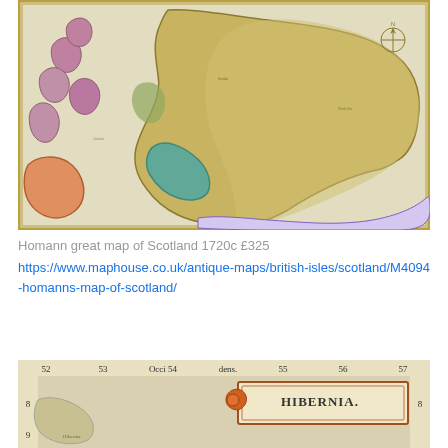[Figure (map): Homann great map of Scotland circa 1720, antique hand-coloured map showing Scotland with highlighted regions in purple, green, yellow and orange. Shows islands on the west coast and borders with England to the south.]
Homann great map of Scotland 1720c £325
https://www.maphouse.co.uk/antique-maps/british-isles/scotland/M4094-homanns-map-of-scotland/
[Figure (map): Partial view of an antique map labeled 'HIBERNIA' (Ireland), showing latitude/longitude grid lines with numbers 52-57 along the top and 8-9 on the sides. Features an ornate cartouche with the title HIBERNIA.]